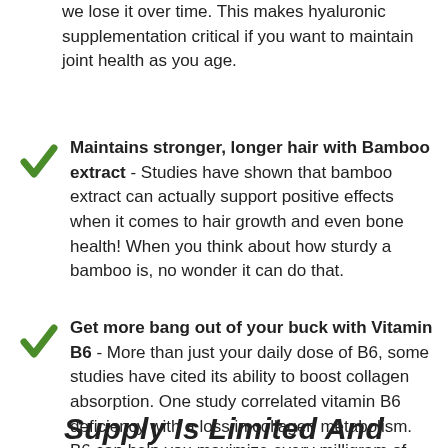we lose it over time. This makes hyaluronic supplementation critical if you want to maintain joint health as you age.
Maintains stronger, longer hair with Bamboo extract - Studies have shown that bamboo extract can actually support positive effects when it comes to hair growth and even bone health! When you think about how sturdy a bamboo is, no wonder it can do that.
Get more bang out of your buck with Vitamin B6 - More than just your daily dose of B6, some studies have cited its ability to boost collagen absorption. One study correlated vitamin B6 deficiency with a loss in collagen metabolism. B6 can help you maximize every milligram of collagen you have.
Supply Is Limited And